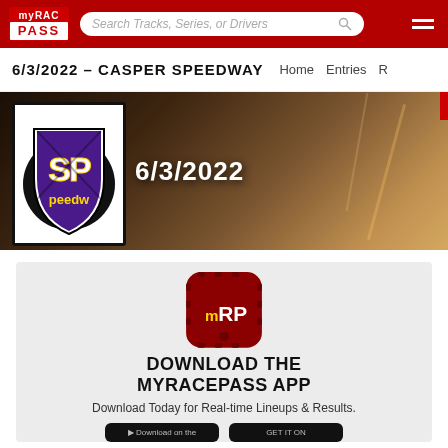MyRacePass navigation bar with logo, search field 'Search Tracks, Series, or Drivers', and hamburger menu
6/3/2022 – CASPER SPEEDWAY
Home  Entries  R
[Figure (screenshot): Hero banner with Casper Speedway logo on left (SP Speedway shield logo in purple/yellow/black) and date 6/3/2022 in white text on dark brown/amber background]
[Figure (logo): MyRacePass app icon — dark red rounded square with mRP logo text in white and yellow]
DOWNLOAD THE MYRACEPASS APP
Download Today for Real-time Lineups & Results.
Download on the  |  GET IT ON